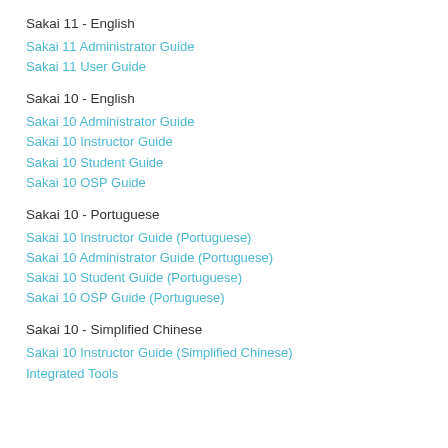Sakai 11 - English
Sakai 11 Administrator Guide
Sakai 11 User Guide
Sakai 10 - English
Sakai 10 Administrator Guide
Sakai 10 Instructor Guide
Sakai 10 Student Guide
Sakai 10 OSP Guide
Sakai 10 - Portuguese
Sakai 10 Instructor Guide (Portuguese)
Sakai 10 Administrator Guide (Portuguese)
Sakai 10 Student Guide (Portuguese)
Sakai 10 OSP Guide (Portuguese)
Sakai 10 - Simplified Chinese
Sakai 10 Instructor Guide (Simplified Chinese)
Integrated Tools